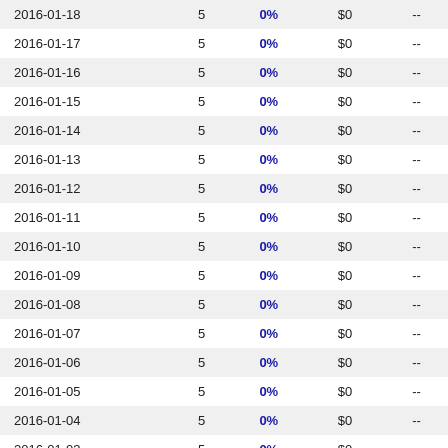| Date |  | 0% | $0 | -- |
| --- | --- | --- | --- | --- |
| 2016-01-18 | 5 | 0% | $0 | -- |
| 2016-01-17 | 5 | 0% | $0 | -- |
| 2016-01-16 | 5 | 0% | $0 | -- |
| 2016-01-15 | 5 | 0% | $0 | -- |
| 2016-01-14 | 5 | 0% | $0 | -- |
| 2016-01-13 | 5 | 0% | $0 | -- |
| 2016-01-12 | 5 | 0% | $0 | -- |
| 2016-01-11 | 5 | 0% | $0 | -- |
| 2016-01-10 | 5 | 0% | $0 | -- |
| 2016-01-09 | 5 | 0% | $0 | -- |
| 2016-01-08 | 5 | 0% | $0 | -- |
| 2016-01-07 | 5 | 0% | $0 | -- |
| 2016-01-06 | 5 | 0% | $0 | -- |
| 2016-01-05 | 5 | 0% | $0 | -- |
| 2016-01-04 | 5 | 0% | $0 | -- |
| 2016-01-03 | 5 | 0% | $0 | -- |